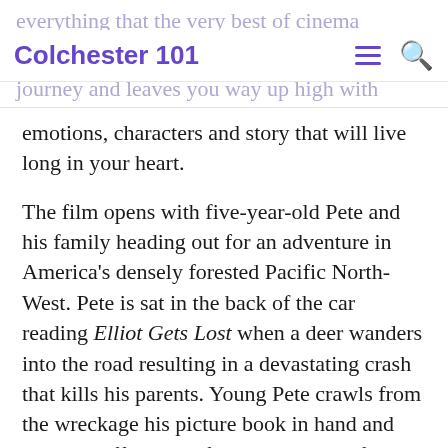Colchester 101
emotions, characters and story that will live long in your heart.
The film opens with five-year-old Pete and his family heading out for an adventure in America's densely forested Pacific North-West. Pete is sat in the back of the car reading Elliot Gets Lost when a deer wanders into the road resulting in a devastating crash that kills his parents. Young Pete crawls from the wreckage his picture book in hand and wanders off into the forest. Things go from bad to worse for our young hero when he is set upon by a pack of ravenous wolves, but then a huge, lumbering form intervenes and saves the child from a horrific death a great, green dragon, its shaggy fur bristling with anger and menace.